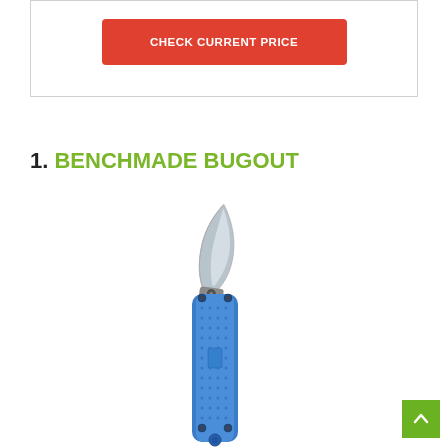CHECK CURRENT PRICE
1. BENCHMADE BUGOUT
[Figure (photo): Photo of a Benchmade Bugout folding knife with a silver/gray blade open and a blue textured handle, shown vertically against a white background.]